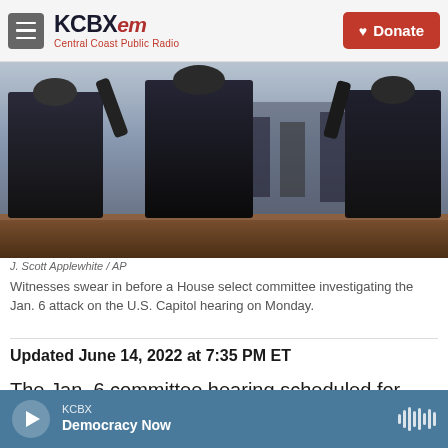KCBX FM — Central Coast Public Radio | Donate
[Figure (photo): Several men in dark suits standing with backs to camera in a congressional hearing room, with press photographers and audience members visible in the background. Wood-paneled furniture and tables are visible.]
J. Scott Applewhite / AP
Witnesses swear in before a House select committee investigating the Jan. 6 attack on the U.S. Capitol hearing on Monday.
Updated June 14, 2022 at 7:35 PM ET
The Jan. 6 committee hearing scheduled for Wednesday has been postponed to an as-yet unknown day, the panel said in a statement
KCBX — Democracy Now